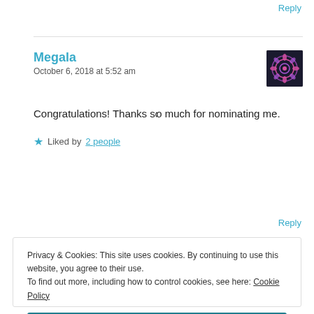Reply
Megala
October 6, 2018 at 5:52 am
[Figure (illustration): User avatar icon with a mandala/flower design on dark background]
Congratulations! Thanks so much for nominating me.
★ Liked by 2 people
Reply
Privacy & Cookies: This site uses cookies. By continuing to use this website, you agree to their use.
To find out more, including how to control cookies, see here: Cookie Policy
Close and accept